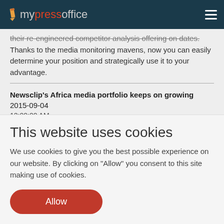mypressoffice
their re-engineered competitor analysis offering on dates. Thanks to the media monitoring mavens, now you can easily determine your position and strategically use it to your advantage.
Newsclip's Africa media portfolio keeps on growing 2015-09-04 12:00:00 AM
Newsclip continues to increase their reach in Africa, growing their Africa media portfolio rapidly. They have recently added
This website uses cookies
We use cookies to give you the best possible experience on our website. By clicking on "Allow" you consent to this site making use of cookies.
Allow